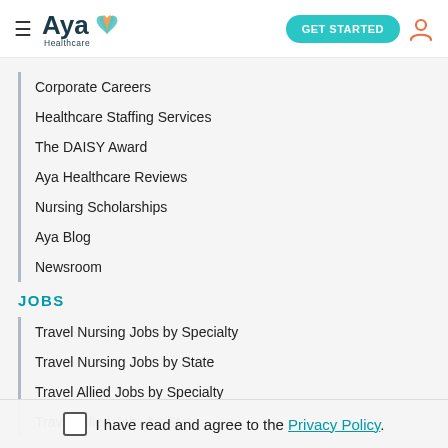Aya Healthcare — GET STARTED
Corporate Careers
Healthcare Staffing Services
The DAISY Award
Aya Healthcare Reviews
Nursing Scholarships
Aya Blog
Newsroom
JOBS
Travel Nursing Jobs by Specialty
Travel Nursing Jobs by State
Travel Allied Jobs by Specialty
Travel Allied Jobs by State
I have read and agree to the Privacy Policy.